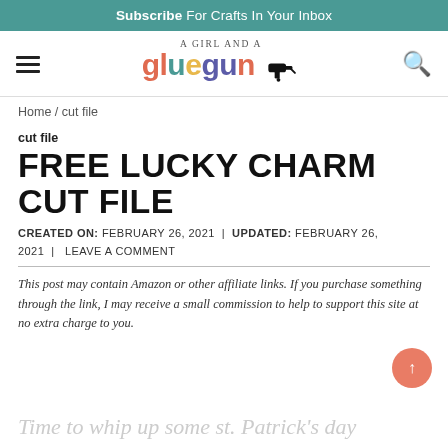Subscribe For Crafts In Your Inbox
[Figure (logo): A Girl and a Glue Gun blog logo with colorful text and glue gun icon]
Home / cut file
cut file
FREE LUCKY CHARM CUT FILE
CREATED ON: FEBRUARY 26, 2021  |  UPDATED: FEBRUARY 26, 2021  |  LEAVE A COMMENT
This post may contain Amazon or other affiliate links. If you purchase something through the link, I may receive a small commission to help to support this site at no extra charge to you.
Time to whip up some st. Patrick's day